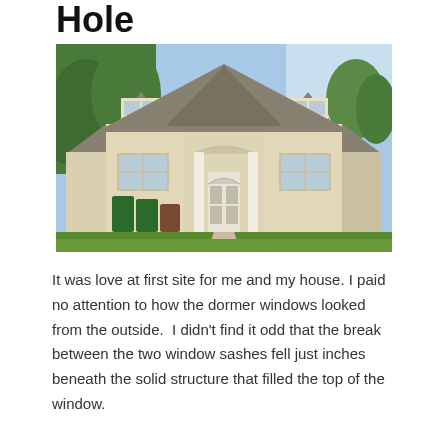Hole
[Figure (photo): Exterior photo of a two-story older yellow/cream-colored house with dormer windows, a front porch with white columns, an arched front door, green lawn, trees in background, and trash bins on the left side.]
It was love at first site for me and my house. I paid no attention to how the dormer windows looked from the outside.  I didn't find it odd that the break between the two window sashes fell just inches beneath the solid structure that filled the top of the window.